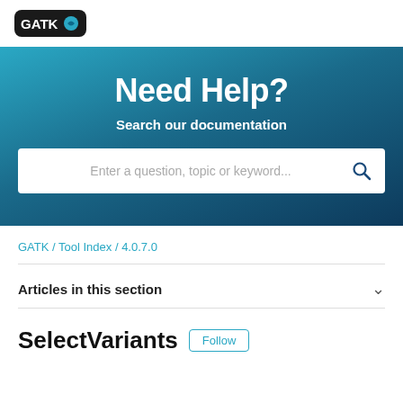[Figure (logo): GATK logo on dark rounded rectangle background]
Need Help?
Search our documentation
Enter a question, topic or keyword...
GATK / Tool Index / 4.0.7.0
Articles in this section
SelectVariants